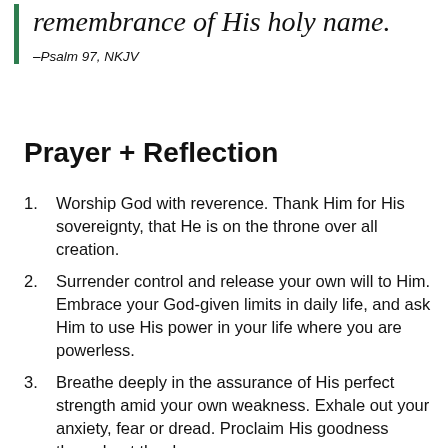remembrance of His holy name.
–Psalm 97, NKJV
Prayer + Reflection
Worship God with reverence. Thank Him for His sovereignty, that He is on the throne over all creation.
Surrender control and release your own will to Him. Embrace your God-given limits in daily life, and ask Him to use His power in your life where you are powerless.
Breathe deeply in the assurance of His perfect strength amid your own weakness. Exhale out your anxiety, fear or dread. Proclaim His goodness throughout the day